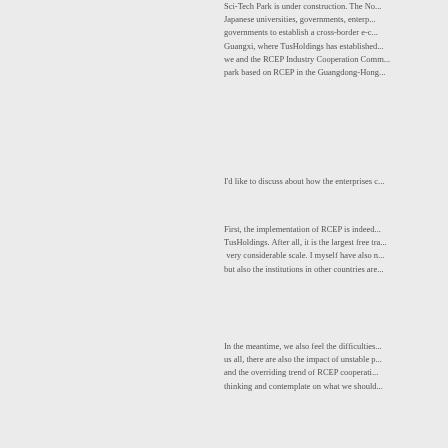Sci-Tech Park is under construction. The No... Japanese universities, governments, enterp... governments to establish a cross-border e-c... Guangxi, where TusHoldings has established... we and the RCEP Industry Cooperation Comm... park based on RCEP in the Guangdong-Hong...
I'd like to discuss about how the enterprises c...
First, the implementation of RCEP is indeed... TusHoldings. After all, it is the largest free tra... very considerable scale. I myself have also n... but also the institutions in other countries are...
In the meantime, we also feel the difficulties... us all, there are also the impact of unstable p... and the overriding trend of RCEP cooperati... thinking and contemplate on what we should...